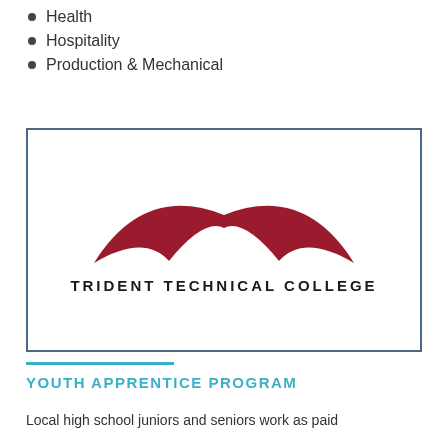Health
Hospitality
Production & Mechanical
[Figure (logo): Trident Technical College logo: red arc shape above the text 'TRIDENT TECHNICAL COLLEGE' in dark spaced capitals, inside a blue-bordered white box.]
YOUTH APPRENTICE PROGRAM
Local high school juniors and seniors work as paid